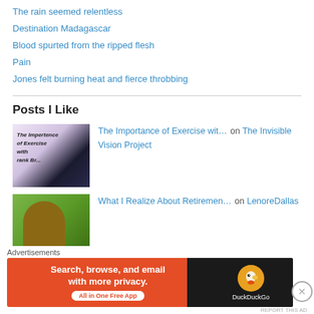The rain seemed relentless
Destination Madagascar
Blood spurted from the ripped flesh
Pain
Jones felt burning heat and fierce throbbing
Posts I Like
[Figure (photo): Thumbnail image showing text about Importance of Exercise with dark overlay]
The Importance of Exercise wit… on The Invisible Vision Project
[Figure (photo): Thumbnail image of a man outdoors with green foliage background]
What I Realize About Retiremen… on LenoreDallas
Advertisements
[Figure (screenshot): DuckDuckGo advertisement banner: Search, browse, and email with more privacy. All in One Free App]